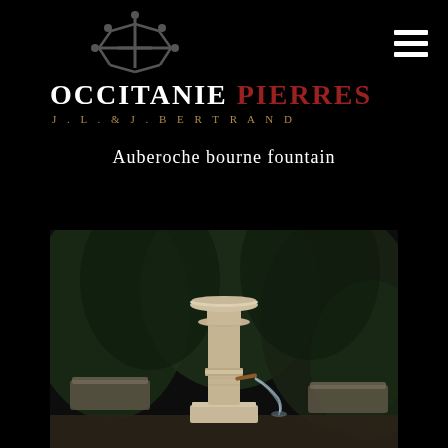[Figure (logo): Occitanie Pierres logo with crown symbol and company name]
Auberoche bourne fountain
[Figure (photo): Stone fountain column with water flowing from a copper pipe, set against a dark garden background with stone trough]